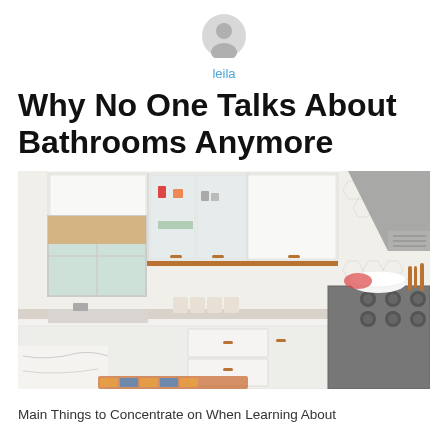[Figure (illustration): Circular user avatar icon in gray]
leila
Why No One Talks About Bathrooms Anymore
[Figure (photo): Modern white kitchen with glass-front upper cabinets, copper hardware, hexagonal tile backsplash, marble countertops, and a professional gas stove with stainless steel range hood]
Main Things to Concentrate on When Learning About